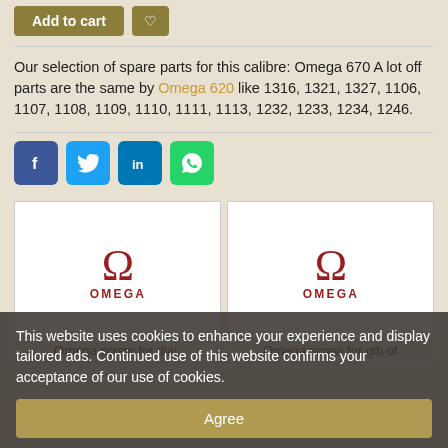[Figure (screenshot): Add to cart button and heart/wishlist button in dark gold/olive color]
Our selection of spare parts for this calibre: Omega 670 A lot off parts are the same by Omega 620 like 1316, 1321, 1327, 1106, 1107, 1108, 1109, 1110, 1111, 1113, 1232, 1233, 1234, 1246.
[Figure (screenshot): Social media share buttons: Facebook, Twitter, LinkedIn, WhatsApp]
[Figure (screenshot): Two Omega product cards side by side showing Omega logo (red Omega symbol and OMEGA text). Left card: Omega screw for dial. Right card: Omega screw for gib of]
This website uses cookies to enhance your experience and display tailored ads. Continued use of this website confirms your acceptance of our use of cookies.